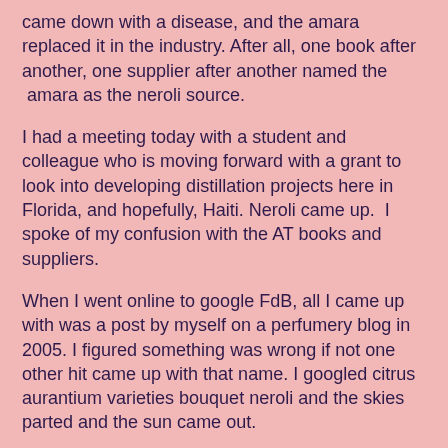came down with a disease, and the amara replaced it in the industry. After all, one book after another, one supplier after another named the  amara as the neroli source.
I had a meeting today with a student and colleague who is moving forward with a grant to look into developing distillation projects here in Florida, and hopefully, Haiti. Neroli came up.  I spoke of my confusion with the AT books and suppliers.
When I went online to google FdB, all I came up with was a post by myself on a perfumery blog in 2005. I figured something was wrong if not one other hit came up with that name. I googled citrus aurantium varieties bouquet neroli and the skies parted and the sun came out.
One source after another names Bouquet de Fleurs as the source of neroli.
I've been wondering what's up all these years. I'm not saying that amara isn't one name for it, but why does everyone cite it as the only source? BdF was #1 according to the old professors, and they were German and quite sure of